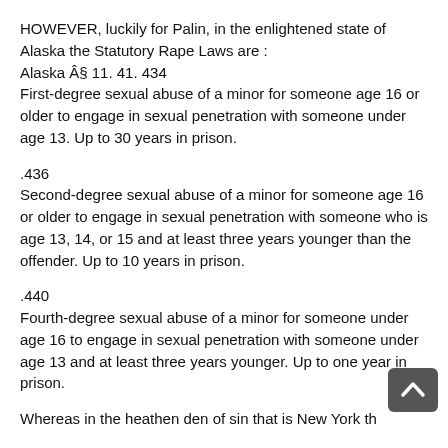HOWEVER, luckily for Palin, in the enlightened state of Alaska the Statutory Rape Laws are :
Alaska § 11. 41. 434
First-degree sexual abuse of a minor for someone age 16 or older to engage in sexual penetration with someone under age 13. Up to 30 years in prison.
.436
Second-degree sexual abuse of a minor for someone age 16 or older to engage in sexual penetration with someone who is age 13, 14, or 15 and at least three years younger than the offender. Up to 10 years in prison.
.440
Fourth-degree sexual abuse of a minor for someone under age 16 to engage in sexual penetration with someone under age 13 and at least three years younger. Up to one year in prison.
Whereas in the heathen den of sin that is New York th